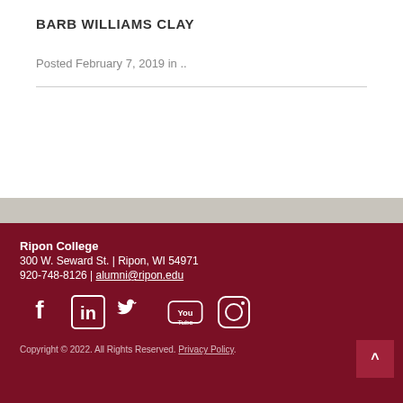BARB WILLIAMS CLAY
Posted February 7, 2019 in ..
Ripon College
300 W. Seward St. | Ripon, WI 54971
920-748-8126 | alumni@ripon.edu
[Figure (other): Social media icons: Facebook, LinkedIn, Twitter, YouTube, Instagram]
Copyright © 2022. All Rights Reserved. Privacy Policy.